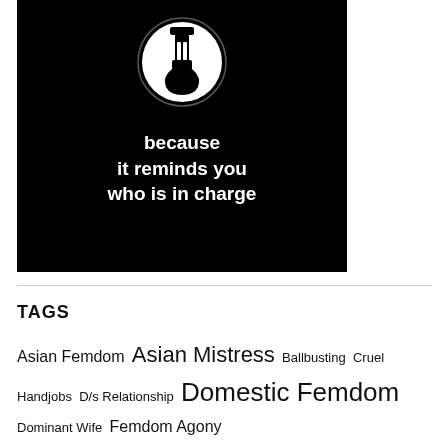[Figure (illustration): Black background image with a white circular icon showing a mechanical/chastity device symbol, with white bold text below reading 'because it reminds you who is in charge']
TAGS
Asian Femdom Asian Mistress Ballbusting Cruel Handjobs D/s Relationship Domestic Femdom Dominant Wife Femdom Agony Femdom Art Femdom CBT Femdom Christmas